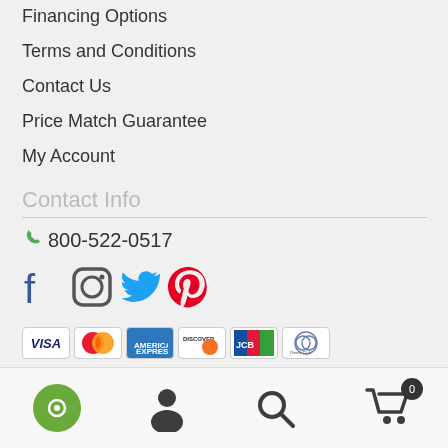Financing Options
Terms and Conditions
Contact Us
Price Match Guarantee
My Account
Contact Info
800-522-0517
[Figure (infographic): Social media icons: Facebook, Instagram, Twitter, Pinterest]
[Figure (infographic): Payment method logos: Visa, MasterCard, American Express, Discover, JCB, Diners Club International. Secured by PayPal button.]
[Figure (infographic): Bottom navigation bar with chat bubble, user, search, and cart icons]